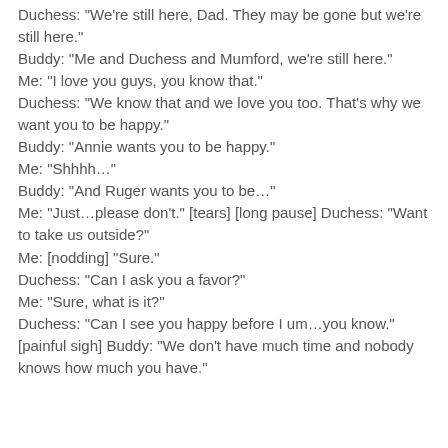Duchess: "We're still here, Dad. They may be gone but we're still here."
Buddy: "Me and Duchess and Mumford, we're still here."
Me: "I love you guys, you know that."
Duchess: "We know that and we love you too. That's why we want you to be happy."
Buddy: "Annie wants you to be happy."
Me: "Shhhh…"
Buddy: "And Ruger wants you to be…"
Me: "Just…please don't." [tears] [long pause] Duchess: "Want to take us outside?"
Me: [nodding] "Sure."
Duchess: "Can I ask you a favor?"
Me: "Sure, what is it?"
Duchess: "Can I see you happy before I um…you know." [painful sigh] Buddy: "We don't have much time and nobody knows how much you have."